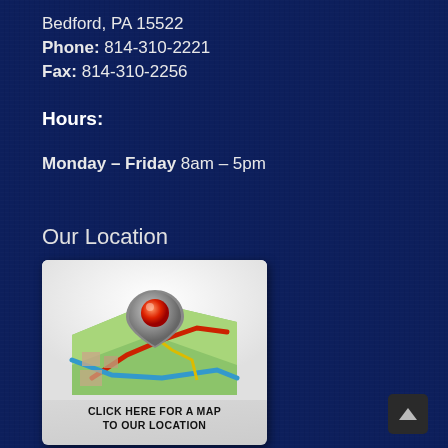Bedford, PA 15522
Phone: 814-310-2221
Fax: 814-310-2256
Hours:
Monday – Friday 8am – 5pm
Our Location
[Figure (illustration): A 3D map graphic with a red location pin marker on top, showing a folded street map with green areas, red and blue roads. Below the image is text reading 'CLICK HERE FOR A MAP TO OUR LOCATION']